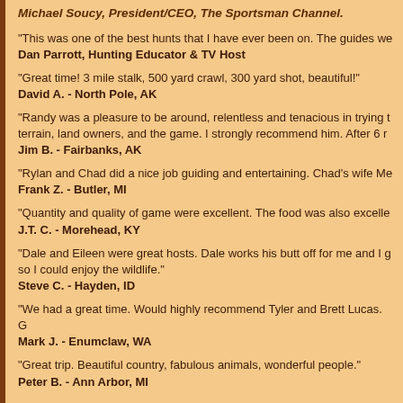Michael Soucy, President/CEO, The Sportsman Channel.
"This was one of the best hunts that I have ever been on. The guides we
Dan Parrott, Hunting Educator & TV Host
"Great time! 3 mile stalk, 500 yard crawl, 300 yard shot, beautiful!"
David A. - North Pole, AK
"Randy was a pleasure to be around, relentless and tenacious in trying to find terrain, land owners, and the game. I strongly recommend him. After 6 r
Jim B. - Fairbanks, AK
"Rylan and Chad did a nice job guiding and entertaining. Chad's wife Me
Frank Z. - Butler, MI
"Quantity and quality of game were excellent. The food was also excelle
J.T. C. - Morehead, KY
"Dale and Eileen were great hosts. Dale works his butt off for me and I g so I could enjoy the wildlife."
Steve C. - Hayden, ID
"We had a great time. Would highly recommend Tyler and Brett Lucas. G
Mark J. - Enumclaw, WA
"Great trip. Beautiful country, fabulous animals, wonderful people."
Peter B. - Ann Arbor, MI